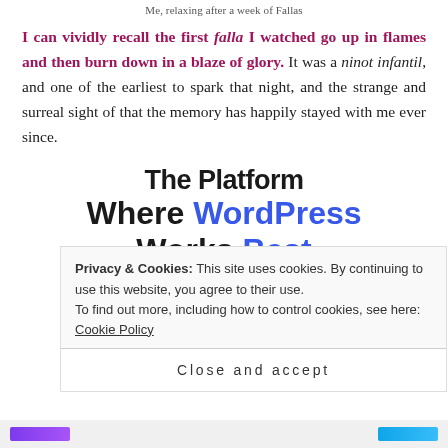Me, relaxing after a week of Fallas
I can vividly recall the first falla I watched go up in flames and then burn down in a blaze of glory. It was a ninot infantil, and one of the earliest to spark that night, and the strange and surreal sight of that the memory has happily stayed with me ever since.
[Figure (screenshot): WordPress hosting advertisement banner reading 'The Platform Where WordPress Works Best' with a blue SEE PRICING button]
Privacy & Cookies: This site uses cookies. By continuing to use this website, you agree to their use. To find out more, including how to control cookies, see here: Cookie Policy
Close and accept